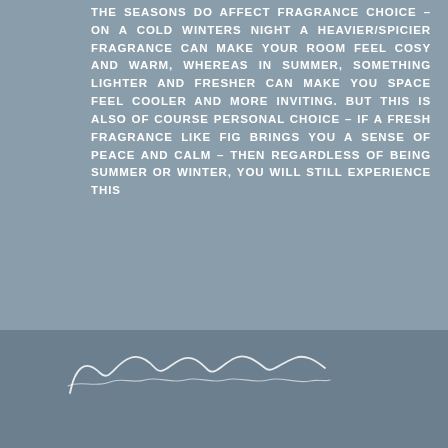THE SEASONS DO AFFECT FRAGRANCE CHOICE – ON A COLD WINTERS NIGHT A HEAVIER/SPICIER FRAGRANCE CAN MAKE YOUR ROOM FEEL COSY AND WARM, WHEREAS IN SUMMER, SOMETHING LIGHTER AND FRESHER CAN MAKE YOU SPACE FEEL COOLER AND MORE INVITING. BUT THIS IS ALSO OF COURSE PERSONAL CHOICE – IF A FRESH FRAGRANCE LIKE FIG BRINGS YOU A SENSE OF PEACE AND CALM – THEN REGARDLESS OF BEING SUMMER OR WINTER, YOU WILL STILL EXPERIENCE THIS
[Figure (illustration): Cursive/script signature or logo text in white on dark blue-grey background at bottom of page]